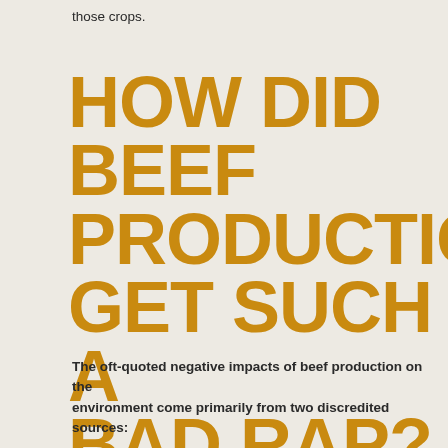those crops.
HOW DID BEEF PRODUCTION GET SUCH A BAD RAP?
The oft-quoted negative impacts of beef production on the environment come primarily from two discredited sources: